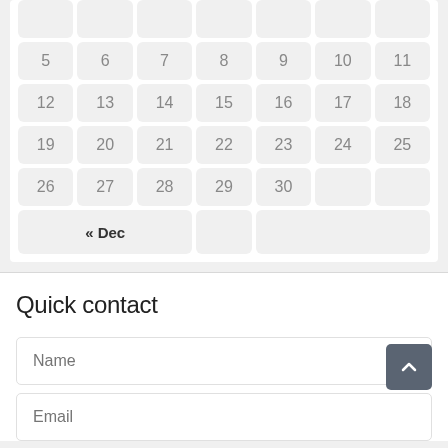| 5 | 6 | 7 | 8 | 9 | 10 | 11 |
| 12 | 13 | 14 | 15 | 16 | 17 | 18 |
| 19 | 20 | 21 | 22 | 23 | 24 | 25 |
| 26 | 27 | 28 | 29 | 30 |  |  |
« Dec
Quick contact
Name
Email